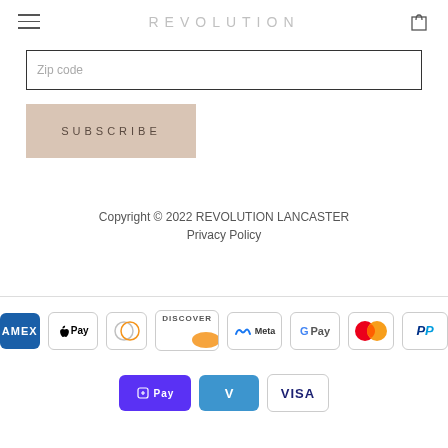REVOLUTION
Zip code
SUBSCRIBE
Copyright © 2022 REVOLUTION LANCASTER
Privacy Policy
[Figure (logo): Payment method icons: American Express, Apple Pay, Diners Club, Discover, Meta Pay, Google Pay, Mastercard, PayPal, Shop Pay, Venmo, Visa]